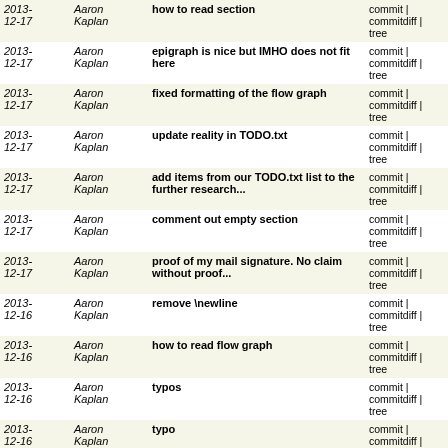| Date | Author | Message | Links |
| --- | --- | --- | --- |
| 2013-12-17 | Aaron Kaplan | how to read section | commit | commitdiff | tree |
| 2013-12-17 | Aaron Kaplan | epigraph is nice but IMHO does not fit here | commit | commitdiff | tree |
| 2013-12-17 | Aaron Kaplan | fixed formatting of the flow graph | commit | commitdiff | tree |
| 2013-12-17 | Aaron Kaplan | update reality in TODO.txt | commit | commitdiff | tree |
| 2013-12-17 | Aaron Kaplan | add items from our TODO.txt list to the further research... | commit | commitdiff | tree |
| 2013-12-17 | Aaron Kaplan | comment out empty section | commit | commitdiff | tree |
| 2013-12-17 | Aaron Kaplan | proof of my mail signature. No claim without proof... | commit | commitdiff | tree |
| 2013-12-16 | Aaron Kaplan | remove \newline | commit | commitdiff | tree |
| 2013-12-16 | Aaron Kaplan | how to read flow graph | commit | commitdiff | tree |
| 2013-12-16 | Aaron Kaplan | typos | commit | commitdiff | tree |
| 2013-12-16 | Aaron Kaplan | typo | commit | commitdiff | tree |
| 2013-12-16 | Aaron Kaplan | Merge branch 'master' of https://git.bettercrypto.org... | commit | commitdiff | tree |
| 2013-12-16 | Aaron Kaplan | remove \newpage | commit | commitdiff | tree |
| 2013-12-16 | Aaron Kaplan | remove \newpages | commit | commitdiff | tree |